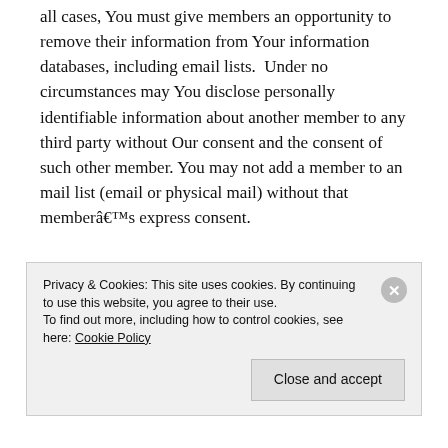all cases, You must give members an opportunity to remove their information from Your information databases, including email lists. Under no circumstances may You disclose personally identifiable information about another member to any third party without Our consent and the consent of such other member. You may not add a member to an mail list (email or physical mail) without that memberâ€™s express consent.
Accessing, Reviewing, and Changing Your Profile
[partial text visible at bottom, cut off by cookie banner]
Privacy & Cookies: This site uses cookies. By continuing to use this website, you agree to their use.
To find out more, including how to control cookies, see here: Cookie Policy